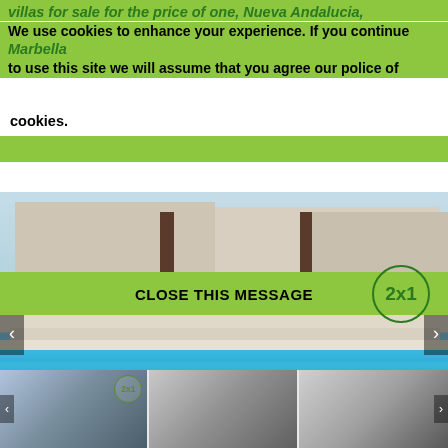villas for sale for the price of one, Nueva Andalucia, Marbella
We use cookies to enhance your experience. If you continue to use this site we will assume that you agree our police of cookies.
CLOSE THIS MESSAGE
[Figure (photo): Rendered image of a luxury villa with pool, palm trees, and lounge chairs. Watermark reads 'Costas & Casas'. Navigation arrows on left and right. Expand button bottom right.]
Photos
Sold
[Figure (photo): Thumbnail strip showing three thumbnail images of the property. First thumbnail has a 2x1 badge.]